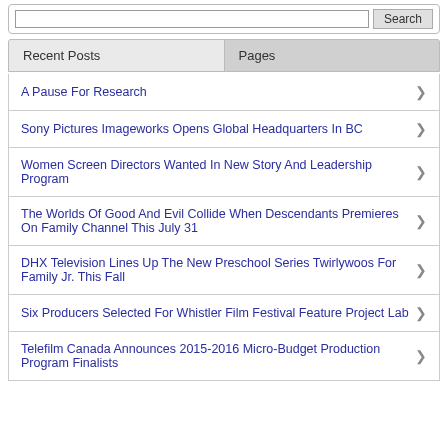A Pause For Research
Sony Pictures Imageworks Opens Global Headquarters In BC
Women Screen Directors Wanted In New Story And Leadership Program
The Worlds Of Good And Evil Collide When Descendants Premieres On Family Channel This July 31
DHX Television Lines Up The New Preschool Series Twirlywoos For Family Jr. This Fall
Six Producers Selected For Whistler Film Festival Feature Project Lab
Telefilm Canada Announces 2015-2016 Micro-Budget Production Program Finalists